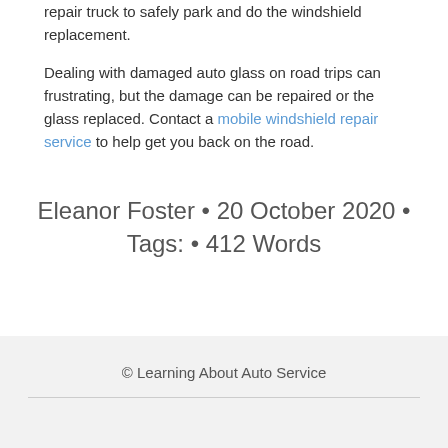repair truck to safely park and do the windshield replacement.
Dealing with damaged auto glass on road trips can frustrating, but the damage can be repaired or the glass replaced. Contact a mobile windshield repair service to help get you back on the road.
Eleanor Foster • 20 October 2020 • Tags: • 412 Words
© Learning About Auto Service